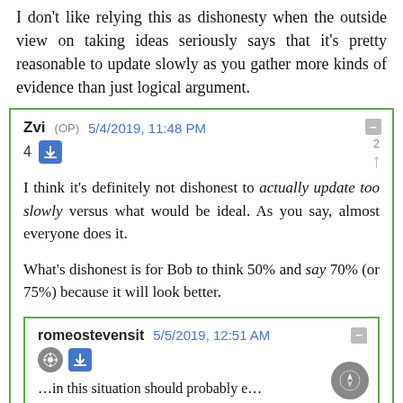I don't like relying this as dishonesty when the outside view on taking ideas seriously says that it's pretty reasonable to update slowly as you gather more kinds of evidence than just logical argument.
Zvi (OP) 5/4/2019, 11:48 PM
4
I think it's definitely not dishonest to actually update too slowly versus what would be ideal. As you say, almost everyone does it.

What's dishonest is for Bob to think 50% and say 70% (or 75%) because it will look better.
romeostevensit 5/5/2019, 12:51 AM